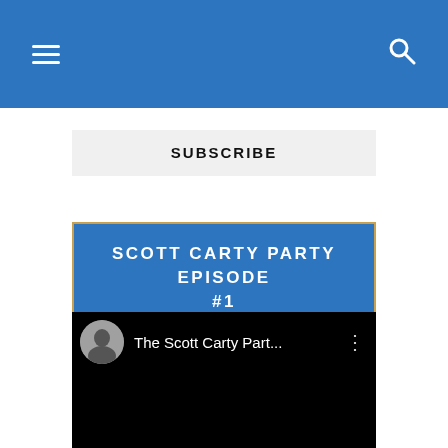Navigation bar with hamburger menu and search icon
SUBSCRIBE
SCOTT CARTY PARTY EPISODE #1
[Figure (screenshot): YouTube video embed showing 'The Scott Carty Part...' channel with avatar and three-dot menu on black background]